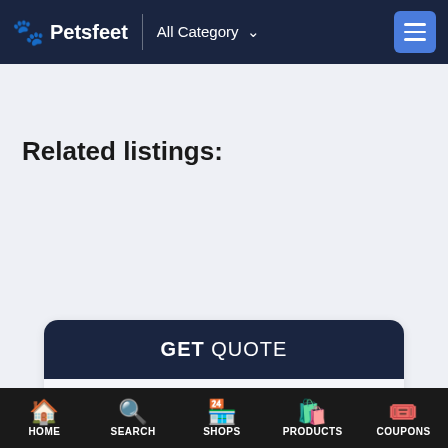Petsfeet — All Category
Related listings:
GET QUOTE
Enter name*
Enter email*
Enter mobile number *
HOME   SEARCH   SHOPS   PRODUCTS   COUPONS